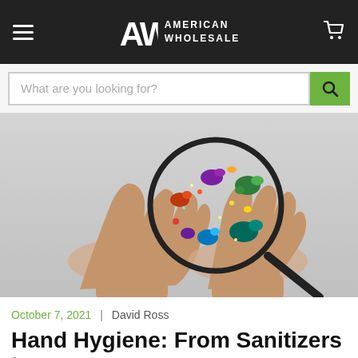American Wholesale — navigation bar with logo, hamburger menu, and cart icon
What are you looking for? [search bar with green search button]
[Figure (photo): Two open palms held up with colorful illustrated germs/bacteria visible under a magnifying glass, on a light grey background]
October 7, 2021 | David Ross
Hand Hygiene: From Sanitizers to